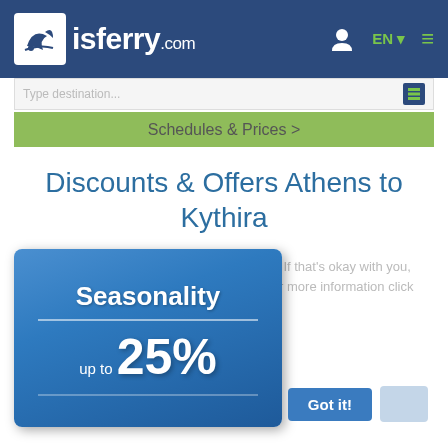isferry.com
Schedules & Prices >
Discounts & Offers Athens to Kythira
[Figure (infographic): Blue card showing Seasonality discount up to 25% with a Got it! button overlay, partially covering cookie consent text]
This site uses cookies. If that's okay with you, just keep browsing. For more information click here.